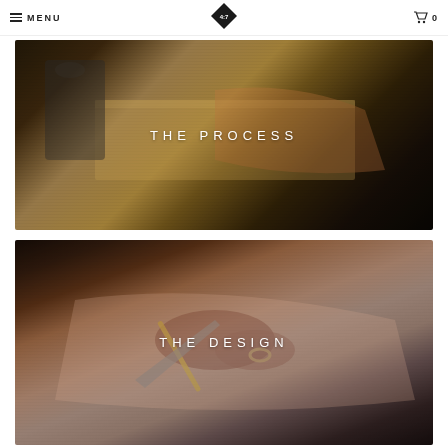MENU | 4:7 | 0
[Figure (photo): Close-up of a leather craftsman's workbench with sewing machine and tan leather pieces, labeled THE PROCESS]
[Figure (photo): Hands of a craftsman cutting leather with a knife on a surface, labeled THE DESIGN]